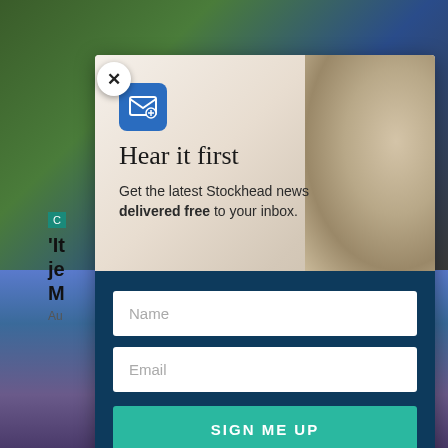[Figure (screenshot): Website popup/modal overlay on a sports news website (Stockhead). Background shows rugby/sports photos. A modal dialog with a close (X) button in the top-left corner contains: top section with a beige/cream background featuring a groundhog image, an email newsletter icon, headline 'Hear it first', and subtitle text. Bottom dark navy section has two form fields (Name, Email) and a teal 'SIGN ME UP' button.]
Hear it first
Get the latest Stockhead news delivered free to your inbox.
Name
Email
SIGN ME UP